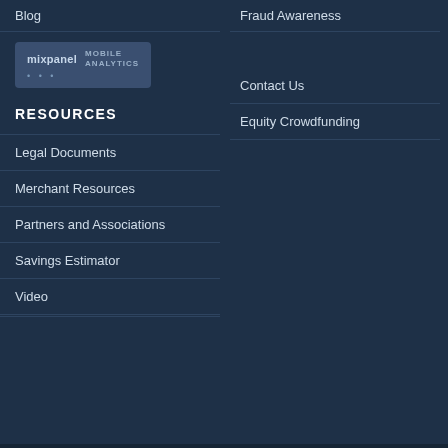Blog
Fraud Awareness
[Figure (logo): Mixpanel Mobile Analytics logo badge]
Contact Us
Equity Crowdfunding
RESOURCES
Legal Documents
Merchant Resources
Partners and Associations
Savings Estimator
Video